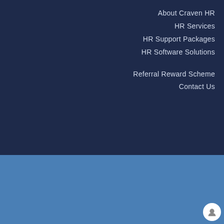About Craven HR
HR Services
HR Support Packages
HR Software Solutions
Referral Reward Scheme
Contact Us
© Copyright - Craven Safety Services - Design & hosting by Digital Nomads
Craven Consultancy Services | H&S Services | HR Services | Special Offers | Referral Reward Scheme | Contact
Call: 01756 860600